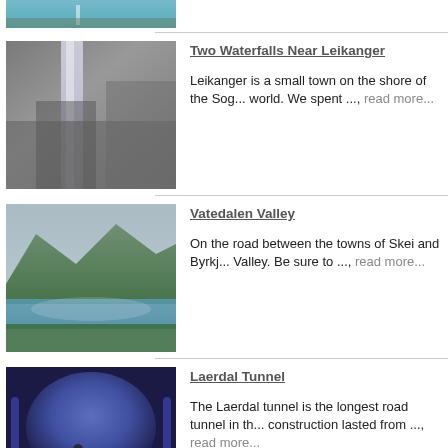[Figure (photo): Top cropped landscape photo, partially visible]
[Figure (photo): Waterfall near rocky cliff face]
Two Waterfalls Near Leikanger
Leikanger is a small town on the shore of the Sog... world. We spent ..., read more...
[Figure (photo): Vatedalen Valley with mountains and lake]
Vatedalen Valley
On the road between the towns of Skei and Byrkj... Valley. Be sure to ..., read more...
[Figure (photo): Laerdal Tunnel interior with blue lighting and two people]
Laerdal Tunnel
The Laerdal tunnel is the longest road tunnel in th... construction lasted from ..., read more...